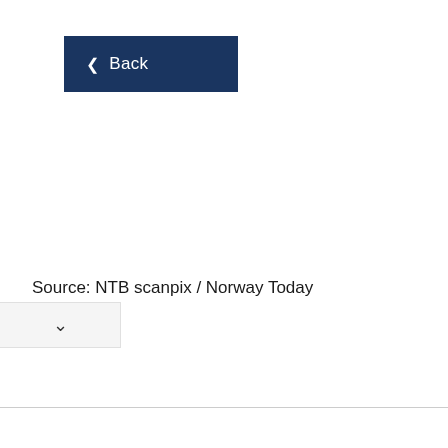[Figure (screenshot): Dark navy blue Back button with left-pointing chevron arrow and text 'Back']
Source: NTB scanpix / Norway Today
———
[Figure (screenshot): Gray navigation bar with downward chevron arrow at bottom left]